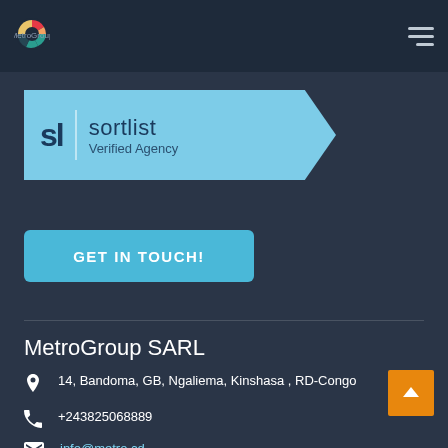[Figure (logo): MetroGroup logo with colorful circle icon in top-left nav bar]
[Figure (logo): Sortlist Verified Agency badge in light blue with pentagon/arrow shape]
GET IN TOUCH!
MetroGroup SARL
14, Bandoma, GB, Ngaliema, Kinshasa , RD-Congo
+243825068889
info@metro.cd
@Metrogroup SARL 2017